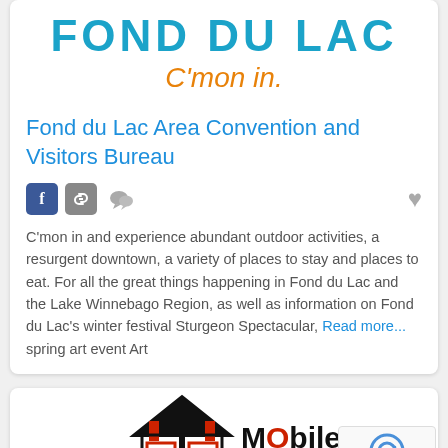[Figure (logo): Fond du Lac logo with bold teal uppercase text 'FOND DU LAC' and orange italic cursive text 'C'mon in.' below]
Fond du Lac Area Convention and Visitors Bureau
[Figure (other): Social media icons row: Facebook (blue square with f), link icon (grey), comment icon (grey), and heart icon on far right]
C'mon in and experience abundant outdoor activities, a resurgent downtown, a variety of places to stay and places to eat. For all the great things happening in Fond du Lac and the Lake Winnebago Region, as well as information on Fond du Lac's winter festival Sturgeon Spectacular, spring art event Art Read more...
[Figure (logo): BTS Mobile logo with black and red house/building icon and 'MObile' text with red O, partially visible at bottom of page. Recaptcha widget in bottom right corner.]